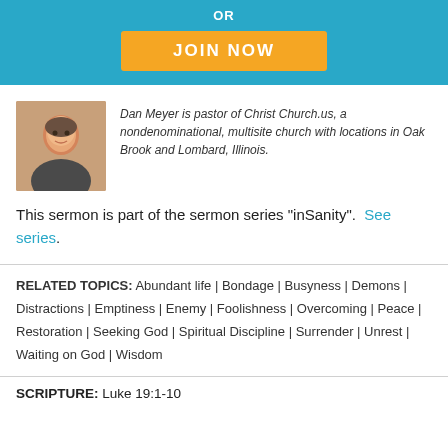[Figure (other): Blue banner with OR text and orange JOIN NOW button]
[Figure (photo): Headshot photo of Dan Meyer, a smiling middle-aged man]
Dan Meyer is pastor of Christ Church.us, a nondenominational, multisite church with locations in Oak Brook and Lombard, Illinois.
This sermon is part of the sermon series "inSanity". See series.
RELATED TOPICS: Abundant life | Bondage | Busyness | Demons | Distractions | Emptiness | Enemy | Foolishness | Overcoming | Peace | Restoration | Seeking God | Spiritual Discipline | Surrender | Unrest | Waiting on God | Wisdom
SCRIPTURE: Luke 19:1-10